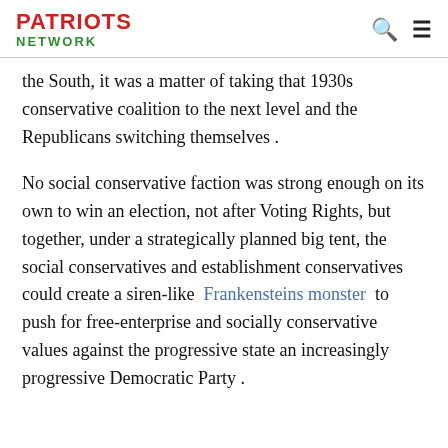PATRIOTS NETWORK
the South, it was a matter of taking that 1930s conservative coalition to the next level and the Republicans switching themselves .
No social conservative faction was strong enough on its own to win an election, not after Voting Rights, but together, under a strategically planned big tent, the social conservatives and establishment conservatives could create a siren-like Frankensteins monster to push for free-enterprise and socially conservative values against the progressive state an increasingly progressive Democratic Party .